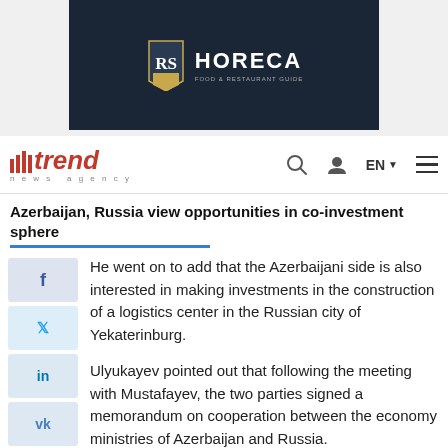[Figure (logo): HORECA RS logo on dark navy background banner ad]
trend news agency — EN navigation bar with search and menu icons
Azerbaijan, Russia view opportunities in co-investment sphere
He went on to add that the Azerbaijani side is also interested in making investments in the construction of a logistics center in the Russian city of Yekaterinburg.
Ulyukayev pointed out that following the meeting with Mustafayev, the two parties signed a memorandum on cooperation between the economy ministries of Azerbaijan and Russia.